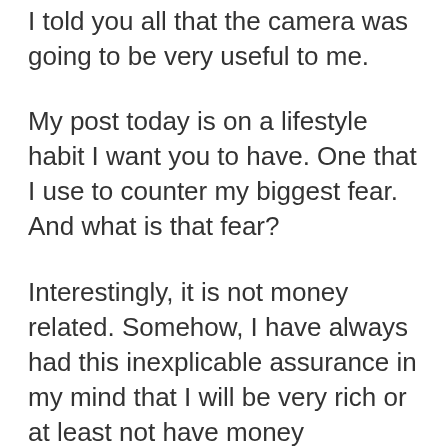I told you all that the camera was going to be very useful to me.
My post today is on a lifestyle habit I want you to have. One that I use to counter my biggest fear. And what is that fear?
Interestingly, it is not money related. Somehow, I have always had this inexplicable assurance in my mind that I will be very rich or at least not have money problems. Even when I had no logical proof and the current situation wasn't helping matters. Maybe it is because I have been through deep poverty and significant abundance growing up, and it has made me realise first hand that much more than the money itself is one's ability to be resourceful and contented. And also that if you work hard and smart, you'll have more than enough (God sparing you any expensive accidents/sickness).